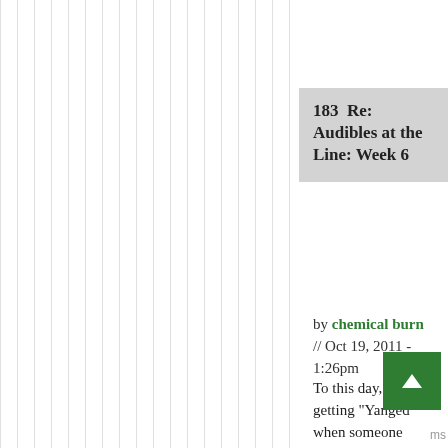183  Re: Audibles at the Line: Week 6
by chemical burn // Oct 19, 2011 - 1:26pm
To this day, I call it getting "Yanged" when someone takes a position I agree with, but argues it